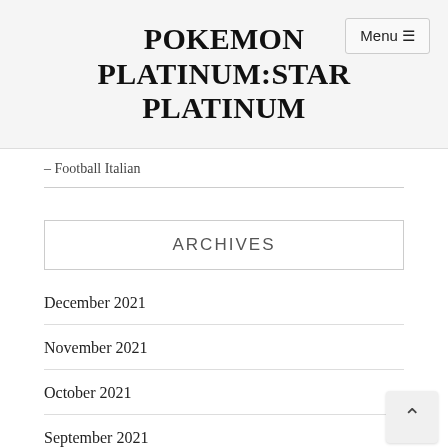POKEMON PLATINUM:STAR PLATINUM
Menu ☰
– Football Italian
ARCHIVES
December 2021
November 2021
October 2021
September 2021